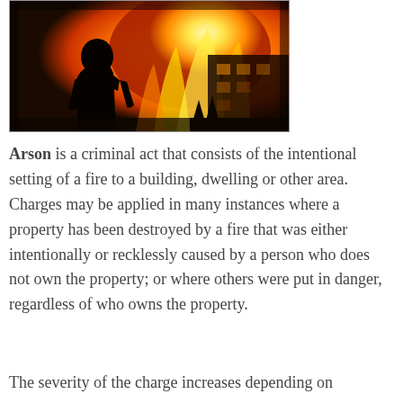[Figure (photo): Dark silhouette of a hooded figure standing in front of a large fire burning a building at night, dramatic orange flames in background]
Arson is a criminal act that consists of the intentional setting of a fire to a building, dwelling or other area. Charges may be applied in many instances where a property has been destroyed by a fire that was either intentionally or recklessly caused by a person who does not own the property; or where others were put in danger, regardless of who owns the property.
The severity of the charge increases depending on